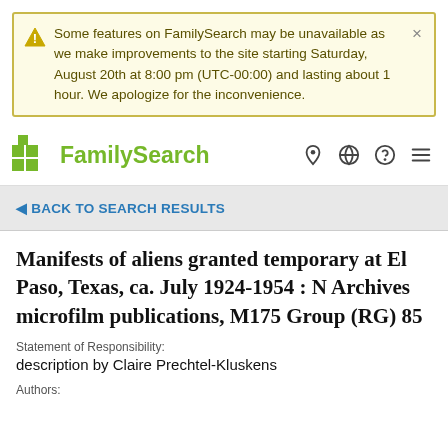Some features on FamilySearch may be unavailable as we make improvements to the site starting Saturday, August 20th at 8:00 pm (UTC-00:00) and lasting about 1 hour. We apologize for the inconvenience.
[Figure (logo): FamilySearch logo with green tree/squares icon and green bold text]
BACK TO SEARCH RESULTS
Manifests of aliens granted temporary at El Paso, Texas, ca. July 1924-1954 : N Archives microfilm publications, M175 Group (RG) 85
Statement of Responsibility:
description by Claire Prechtel-Kluskens
Authors: